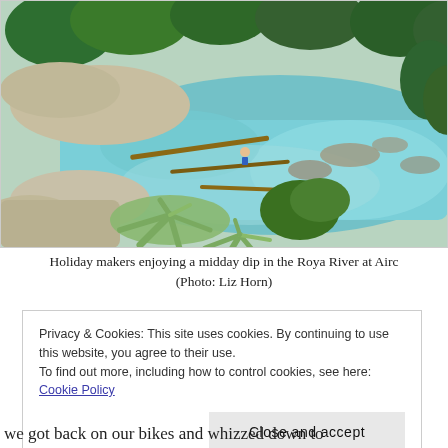[Figure (photo): Aerial view of the Roya River at Airole, showing turquoise water, rocky riverbanks, trees, vegetation, and holiday makers swimming or wading in the river. Narrow log/plank structures extend into the water. Agave plants visible in the foreground.]
Holiday makers enjoying a midday dip in the Roya River at Airole (Photo: Liz Horn)
Privacy & Cookies: This site uses cookies. By continuing to use this website, you agree to their use.
To find out more, including how to control cookies, see here: Cookie Policy
Close and accept
we got back on our bikes and whizzed down to